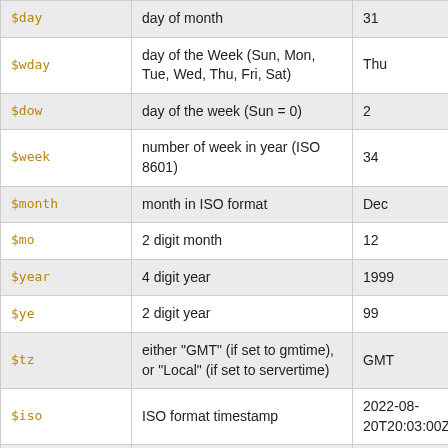| Variable | Description | Example |
| --- | --- | --- |
| $day | day of month | 31 |
| $wday | day of the Week (Sun, Mon, Tue, Wed, Thu, Fri, Sat) | Thu |
| $dow | day of the week (Sun = 0) | 2 |
| $week | number of week in year (ISO 8601) | 34 |
| $month | month in ISO format | Dec |
| $mo | 2 digit month | 12 |
| $year | 4 digit year | 1999 |
| $ye | 2 digit year | 99 |
| $tz | either "GMT" (if set to gmtime), or "Local" (if set to servertime) | GMT |
| $iso | ISO format timestamp | 2022-08-20T20:03:00Z |
| $rcs | RCS format timestamp | 2022/08/20 20:03:00 |
| $http | E-mail & http format timestamp | Sat, 20 Aug 2022 20:03:00 GMT |